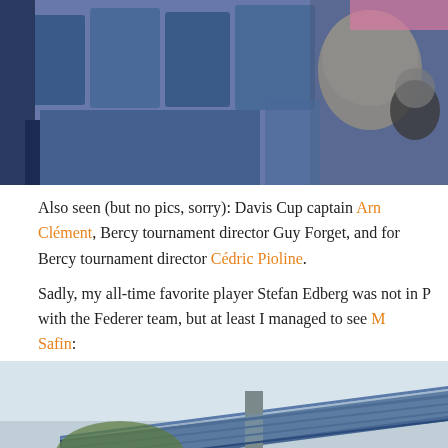[Figure (photo): Top photo showing blue stadium seats and a bald person's head in profile against a crowd background]
Also seen (but no pics, sorry): Davis Cup captain Arnaud Clément, Bercy tournament director Guy Forget, and former Bercy tournament director Cédric Pioline.
Sadly, my all-time favorite player Stefan Edberg was not in Paris with the Federer team, but at least I managed to see Marat Safin:
[Figure (photo): Bottom photo showing a building with blue steel frame roof structure and a person holding what appears to be a large flag or poster, with red background elements]